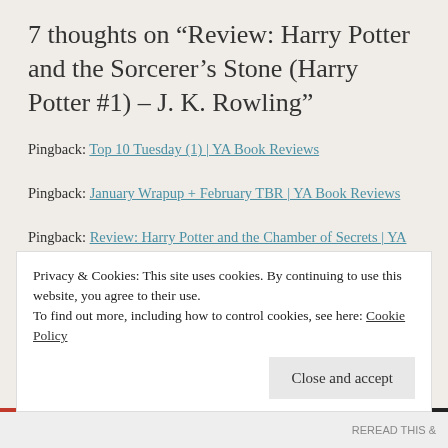7 thoughts on “Review: Harry Potter and the Sorcerer’s Stone (Harry Potter #1) – J. K. Rowling”
Pingback: Top 10 Tuesday (1) | YA Book Reviews
Pingback: January Wrapup + February TBR | YA Book Reviews
Pingback: Review: Harry Potter and the Chamber of Secrets | YA Book Reviews
Privacy & Cookies: This site uses cookies. By continuing to use this website, you agree to their use. To find out more, including how to control cookies, see here: Cookie Policy